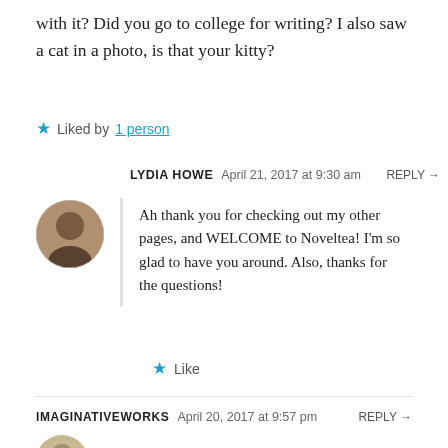with it? Did you go to college for writing? I also saw a cat in a photo, is that your kitty?
Liked by 1 person
LYDIA HOWE   April 21, 2017 at 9:30 am   REPLY →
Ah thank you for checking out my other pages, and WELCOME to Noveltea! I'm so glad to have you around. Also, thanks for the questions!
Like
IMAGINATIVEWORKS   April 20, 2017 at 9:57 pm   REPLY →